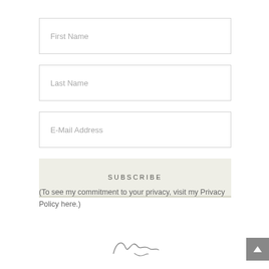First Name
Last Name
E-Mail Address
SUBSCRIBE
(To see my commitment to your privacy, visit my Privacy Policy here.)
[Figure (illustration): Handwritten cursive signature at the bottom of the page]
[Figure (other): Gray scroll-to-top button with upward triangle arrow in bottom right corner]